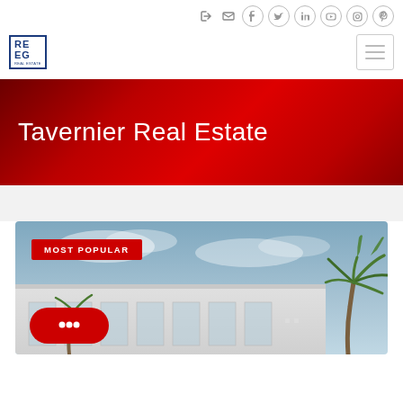Social icons: login, mail, facebook, twitter, linkedin, youtube, instagram, pinterest
[Figure (logo): REEG real estate company logo in blue border box]
[Figure (other): Hamburger menu icon]
Tavernier Real Estate
[Figure (photo): Property listing photo showing a white modern building with palm trees and cloudy sky, with MOST POPULAR badge and chat button overlay]